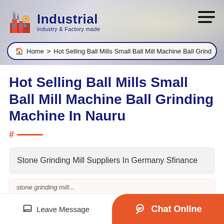Industrial — industry & Factory made
Home > Hot Selling Ball Mills Small Ball Mill Machine Ball Grind
Hot Selling Ball Mills Small Ball Mill Machine Ball Grinding Machine In Nauru
Stone Grinding Mill Suppliers In Germany Sfinance
Leave Message  |  Chat Online